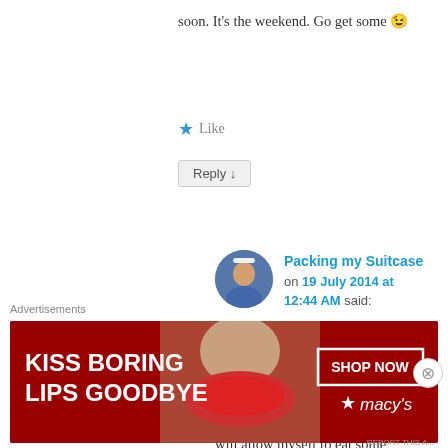soon. It's the weekend. Go get some 😉
★ Like
Reply ↓
[Figure (photo): Avatar photo of commenter Packing my Suitcase]
Packing my Suitcase on 19 July 2014 at 12:44 AM said:
Im very happy for the fact that I made you smile a little 😀 I will allow myself to eat some
Advertisements
[Figure (photo): Advertisement banner: KISS BORING LIPS GOODBYE - SHOP NOW - macys]